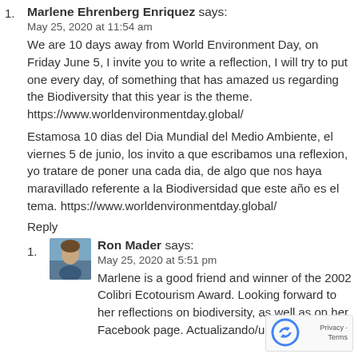Marlene Ehrenberg Enriquez says:
May 25, 2020 at 11:54 am
We are 10 days away from World Environment Day, on Friday June 5, I invite you to write a reflection, I will try to put one every day, of something that has amazed us regarding the Biodiversity that this year is the theme. https://www.worldenvironmentday.global/
Estamosa 10 dias del Dia Mundial del Medio Ambiente, el viernes 5 de junio, los invito a que escribamos una reflexion, yo tratare de poner una cada dia, de algo que nos haya maravillado referente a la Biodiversidad que este año es el tema. https://www.worldenvironmentday.global/
Reply
Ron Mader says:
May 25, 2020 at 5:51 pm
Marlene is a good friend and winner of the 2002 Colibri Ecotourism Award. Looking forward to her reflections on biodiversity, as well as on her Facebook page. Actualizando/updating